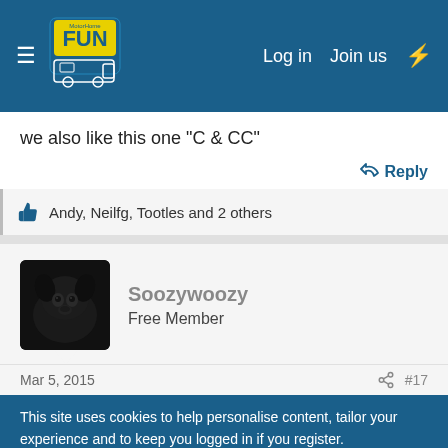MotorHome Fun — Log in  Join us
we also like this one "C & CC"
↩ Reply
👍 Andy, Neilfg, Tootles and 2 others
Soozywoozy
Free Member
Mar 5, 2015   #17
This site uses cookies to help personalise content, tailor your experience and to keep you logged in if you register.
By continuing to use this site, you are consenting to our use of cookies.
✓ Accept   Learn more…